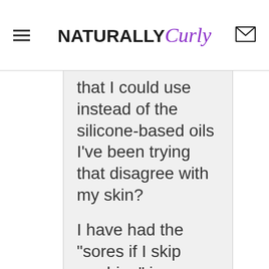NATURALLY Curly
that I could use instead of the silicone-based oils I've been trying that disagree with my skin?

I have had the "sores if I skip washing" issue since I was a teen and over the years have had less of a problem with sores, but definitely the maddening itch.